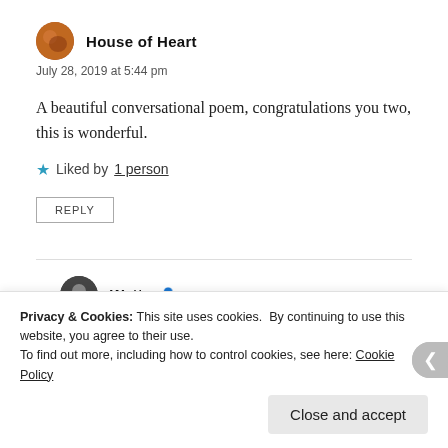House of Heart
July 28, 2019 at 5:44 pm
A beautiful conversational poem, congratulations you two, this is wonderful.
Liked by 1 person
REPLY
Watt
August 7, 2019 at 3:40 pm
Privacy & Cookies: This site uses cookies. By continuing to use this website, you agree to their use. To find out more, including how to control cookies, see here: Cookie Policy
Close and accept